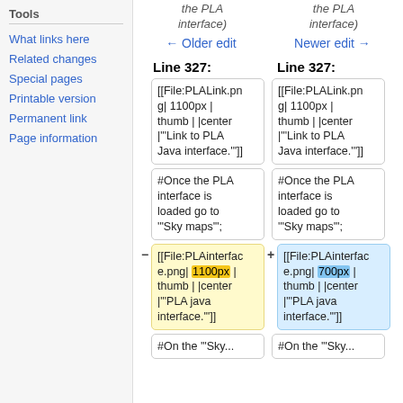Tools
What links here
Related changes
Special pages
Printable version
Permanent link
Page information
the PLA interface)
the PLA interface)
← Older edit
Newer edit →
Line 327:
Line 327:
[[File:PLALink.png| 1100px | thumb | |center |"'Link to PLA Java interface.'"]]
[[File:PLALink.png| 1100px | thumb | |center |"'Link to PLA Java interface.'"]]
#Once the PLA interface is loaded go to "'Sky maps'";
#Once the PLA interface is loaded go to "'Sky maps'";
[[File:PLAinterface.png| 1100px | thumb | |center |"'PLA java interface.'"]]
[[File:PLAinterface.png| 700px | thumb | |center |"'PLA java interface.'"]]
#On the "'Sky...
#On the "'Sky...